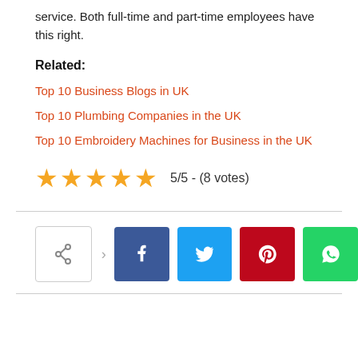service. Both full-time and part-time employees have this right.
Related:
Top 10 Business Blogs in UK
Top 10 Plumbing Companies in the UK
Top 10 Embroidery Machines for Business in the UK
5/5 - (8 votes)
[Figure (other): Social share buttons: share icon, Facebook, Twitter, Pinterest, WhatsApp]